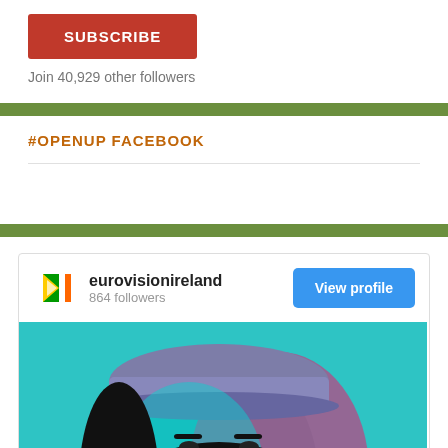SUBSCRIBE
Join 40,929 other followers
#OPENUP FACEBOOK
[Figure (screenshot): Instagram widget showing eurovisionireland account with 864 followers, a View profile button, and a photo of a young woman wearing a cap under teal and pink lighting]
eurovisionireland
864 followers
View profile